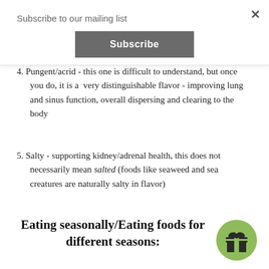Subscribe to our mailing list
4. Pungent/acrid - this one is difficult to understand, but once you do, it is a very distinguishable flavor - improving lung and sinus function, overall dispersing and clearing to the body
5. Salty - supporting kidney/adrenal health, this does not necessarily mean salted (foods like seaweed and sea creatures are naturally salty in flavor)
Eating seasonally/Eating foods for different seasons:
[Figure (illustration): Green circle button with a gift/present icon]